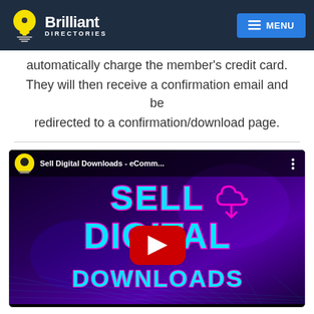Brilliant Directories — MENU navigation bar
automatically charge the member's credit card. They will then receive a confirmation email and be redirected to a confirmation/download page.
[Figure (screenshot): YouTube video thumbnail for 'Sell Digital Downloads - eComm...' with a purple/black gradient background, neon cyan text reading SELL DIGITAL DOWNLOADS, a pink cloud download icon, and a red YouTube play button in the center.]